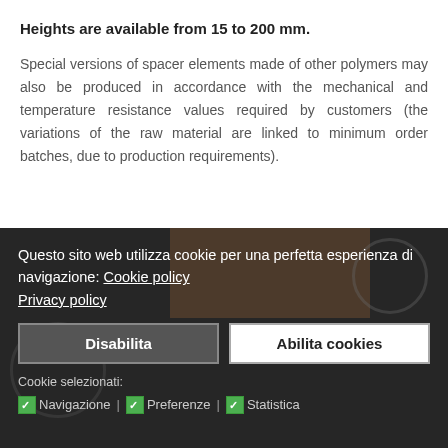Heights are available from 15 to 200 mm.
Special versions of spacer elements made of other polymers may also be produced in accordance with the mechanical and temperature resistance values required by customers (the variations of the raw material are linked to minimum order batches, due to production requirements).
[Figure (screenshot): Cookie consent banner overlay on a dark background with product images (brownish photo block and circular watermark logos). Contains text in Italian about cookie usage, links to Cookie policy and Privacy policy, two buttons (Disabilita and Abilita cookies), and cookie selection checkboxes for Navigazione, Preferenze, and Statistica.]